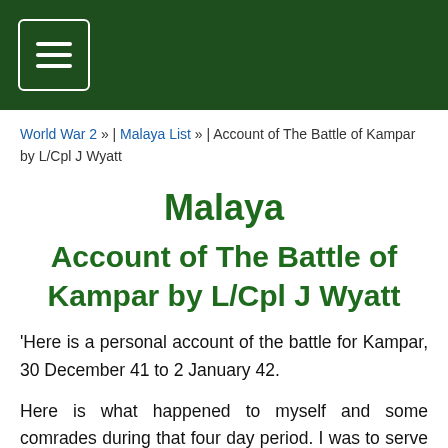≡ (menu button)
World War 2 » | Malaya List » | Account of The Battle of Kampar by L/Cpl J Wyatt
Malaya
Account of The Battle of Kampar by L/Cpl J Wyatt
'Here is a personal account of the battle for Kampar, 30 December 41 to 2 January 42.
Here is what happened to myself and some comrades during that four day period. I was to serve under Captain Vickers, East Surreys, in D Company.
D Company was put into reserve on Cemetery Ridge at the start of the battle. We were digging trenches until the